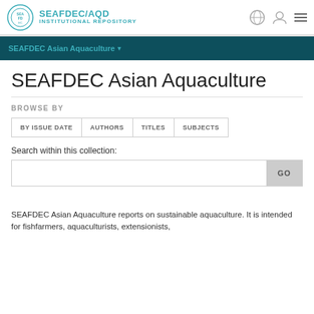SEAFDEC/AQD INSTITUTIONAL REPOSITORY
SEAFDEC Asian Aquaculture
BROWSE BY
BY ISSUE DATE
AUTHORS
TITLES
SUBJECTS
Search within this collection:
SEAFDEC Asian Aquaculture reports on sustainable aquaculture. It is intended for fishfarmers, aquaculturists, extensionists,